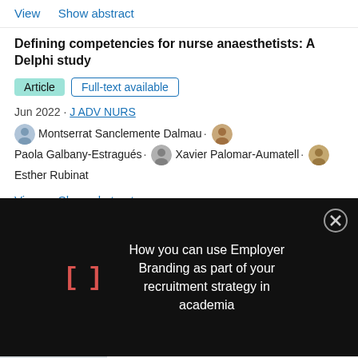View   Show abstract
Defining competencies for nurse anaesthetists: A Delphi study
Article   Full-text available
Jun 2022 · J ADV NURS
Montserrat Sanclemente Dalmau · Paola Galbany-Estragués · Xavier Palomar-Aumatell · Esther Rubinat
View   Show abstract
[Figure (screenshot): Black overlay advertisement panel showing red bracket symbol '[]' and white text: 'How you can use Employer Branding as part of your recruitment strategy in academia' with close X button]
[Figure (photo): ThermoFisher Scientific advertisement with device photo and tagline 'Empowering life science researchers']
Empowering life science researchers